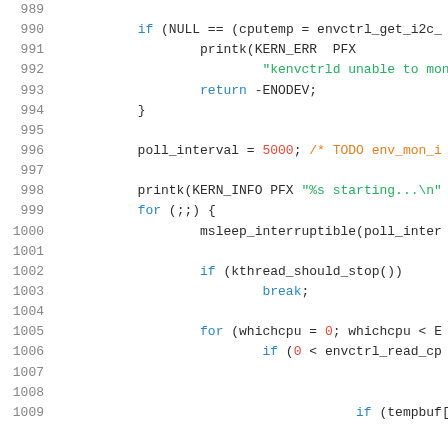[Figure (screenshot): Source code snippet showing C kernel code, lines 989-1009, with syntax highlighting. Keywords in blue, strings in green, numbers in red, comments in orange.]